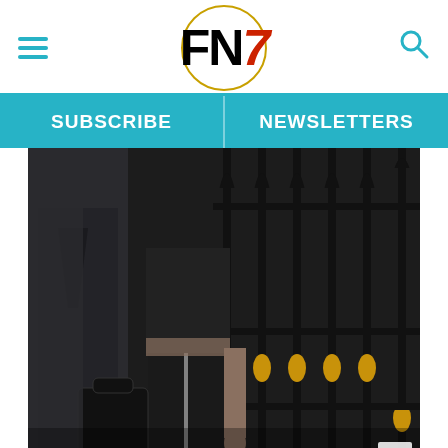FN7 - Footwear News header with hamburger menu, logo, and search icon
SUBSCRIBE
NEWSLETTERS
[Figure (photo): Person dressed in all black outfit including a crop top and wide-leg trousers, standing in front of ornate black and gold iron gates. A second person in a dark suit is partially visible on the left.]